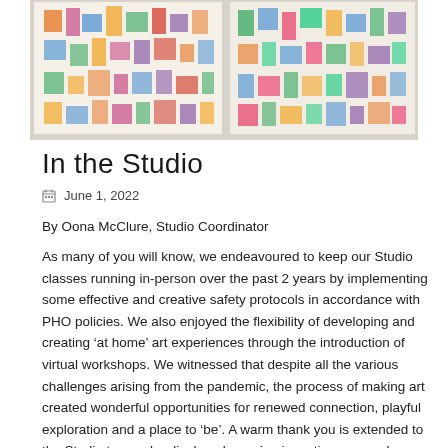[Figure (photo): Two large colorful abstract artworks displayed on a wall in a studio setting, featuring bright multicolored shapes and gestural marks]
In the Studio
June 1, 2022
By Oona McClure, Studio Coordinator
As many of you will know, we endeavoured to keep our Studio classes running in-person over the past 2 years by implementing some effective and creative safety protocols in accordance with PHO policies. We also enjoyed the flexibility of developing and creating ‘at home’ art experiences through the introduction of virtual workshops. We witnessed that despite all the various challenges arising from the pandemic, the process of making art created wonderful opportunities for renewed connection, playful exploration and a place to ‘be’. A warm thank you is extended to the Studio team who displayed ongoing inventiveness and adaptability and to